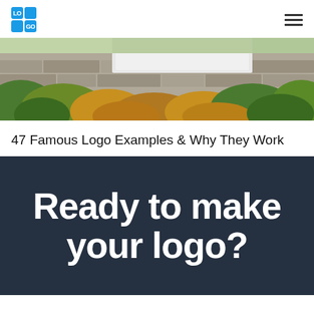LOGO
[Figure (photo): Outdoor photo of a stone wall with a white sign/billboard partially visible, surrounded by green and golden-brown shrubs and bushes under a bright sky.]
47 Famous Logo Examples & Why They Work
Ready to make your logo?